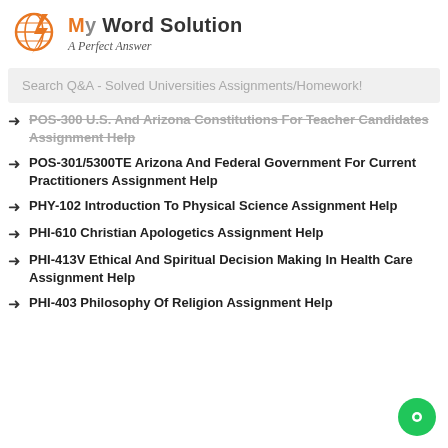[Figure (logo): My Word Solution logo with orange lightning bolt and globe icon, text 'My Word Solution' and tagline 'A Perfect Answer']
Search Q&A - Solved Universities Assignments/Homework!
POS-300 U.S. And Arizona Constitutions For Teacher Candidates Assignment Help
POS-301/5300TE Arizona And Federal Government For Current Practitioners Assignment Help
PHY-102 Introduction To Physical Science Assignment Help
PHI-610 Christian Apologetics Assignment Help
PHI-413V Ethical And Spiritual Decision Making In Health Care Assignment Help
PHI-403 Philosophy Of Religion Assignment Help